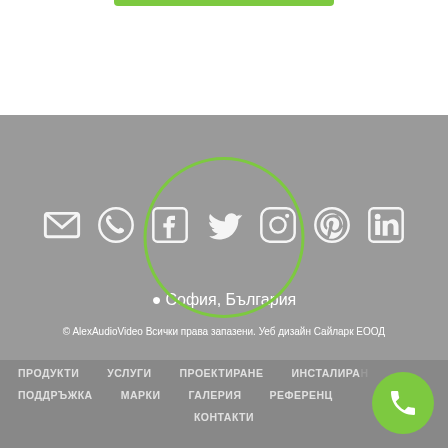[Figure (screenshot): Website footer with social media icons (email, WhatsApp, Facebook, Twitter, Instagram, Pinterest, LinkedIn), location text 'София, България', copyright notice, and navigation links at bottom. A green circle overlays the Twitter icon area. A green phone button is in the bottom right corner.]
София, България
© AlexAudioVideo Всички права запазени. Уеб дизайн Сайларк ЕООД
ПРОДУКТИ   УСЛУГИ   ПРОЕКТИРАНЕ   ИНСТАЛИРАНЕ   ПОДДРЪЖКА   МАРКИ   ГАЛЕРИЯ   РЕФЕРЕНЦИИ   КОНТАКТИ